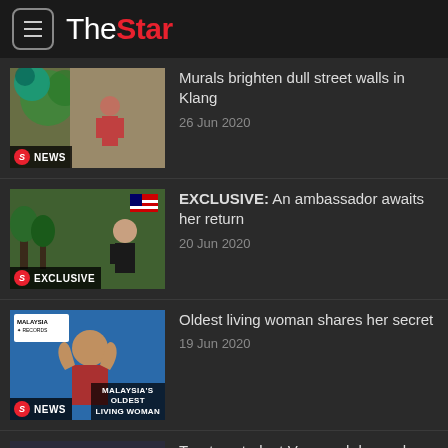The Star
Murals brighten dull street walls in Klang
26 Jun 2020
EXCLUSIVE: An ambassador awaits her return
20 Jun 2020
Oldest living woman shares her secret
19 Jun 2020
Treetop student Veveonah keeps her feet on the ground
18 Jun 2020
Dexamethasone should only be used on severe Covid-19 patients